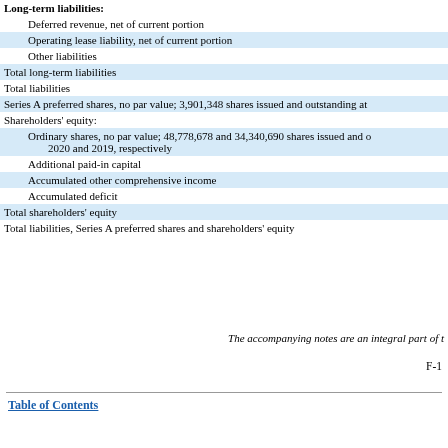| Long-term liabilities: |
| Deferred revenue, net of current portion |
| Operating lease liability, net of current portion |
| Other liabilities |
| Total long-term liabilities |
| Total liabilities |
| Series A preferred shares, no par value; 3,901,348 shares issued and outstanding at |
| Shareholders' equity: |
| Ordinary shares, no par value; 48,778,678 and 34,340,690 shares issued and o... 2020 and 2019, respectively |
| Additional paid-in capital |
| Accumulated other comprehensive income |
| Accumulated deficit |
| Total shareholders' equity |
| Total liabilities, Series A preferred shares and shareholders' equity |
The accompanying notes are an integral part of t
F-1
Table of Contents